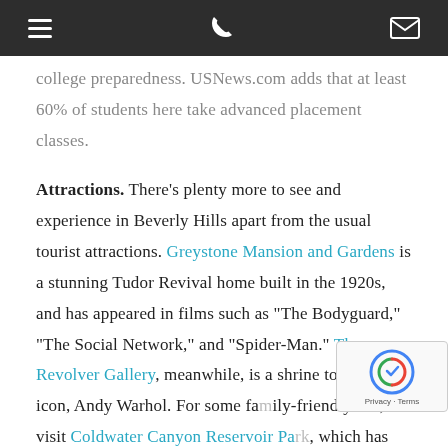[navigation bar with hamburger menu, phone icon, and mail icon]
college preparedness. USNews.com adds that at least 60% of students here take advanced placement classes.
Attractions. There's plenty more to see and experience in Beverly Hills apart from the usual tourist attractions. Greystone Mansion and Gardens is a stunning Tudor Revival home built in the 1920s, and has appeared in films such as "The Bodyguard," "The Social Network," and "Spider-Man." The Revolver Gallery, meanwhile, is a shrine to pop art icon, Andy Warhol. For some family-friendly fun, visit Coldwater Canyon Reservoir Park, which has picnic spots, a playground, and various